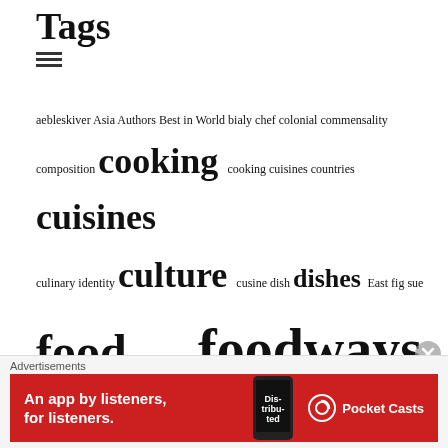Tags
aebleskiver Asia Authors Best in World bialy chef colonial commensality composition cooking cooking cuisines countries cuisines culinary identity culture cusine dish dishes East fig sue food food heroes foodways forage fruit Fund Raising & Non Profit funeral gardens holidays indigenous inequality ingredient Ingredients Islam Lifestyle markets meat replacement Michelin mince pies names New Year pan pickles plant population growth posset posset pot postcolonial Publishers racism recent migrants Recipes refugees Regions research restaurant restaurants
[Figure (other): Advertisement banner for Pocket Casts app - red background with text 'An app by listeners, for listeners.' and Pocket Casts logo]